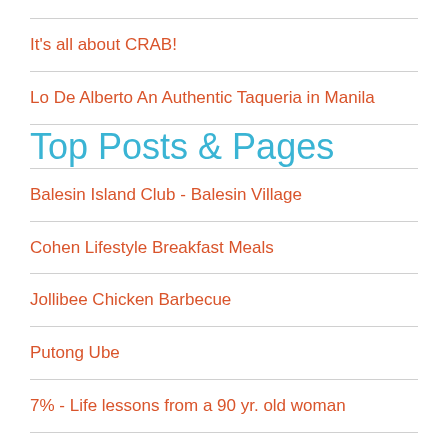It's all about CRAB!
Lo De Alberto An Authentic Taqueria in Manila
Top Posts & Pages
Balesin Island Club - Balesin Village
Cohen Lifestyle Breakfast Meals
Jollibee Chicken Barbecue
Putong Ube
7% - Life lessons from a 90 yr. old woman